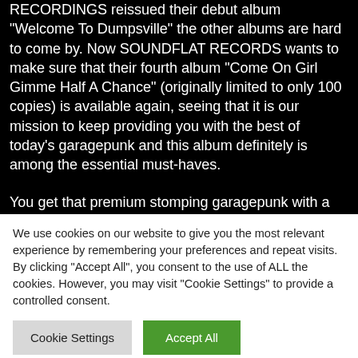RECORDINGS reissued their debut album "Welcome To Dumpsville" the other albums are hard to come by. Now SOUNDFLAT RECORDS wants to make sure that their fourth album “Come On Girl Gimme Half A Chance” (originally limited to only 100 copies) is available again, seeing that it is our mission to keep providing you with the best of today’s garagepunk and this album definitely is among the essential must-haves.
You get that premium stomping garagepunk with a
We use cookies on our website to give you the most relevant experience by remembering your preferences and repeat visits. By clicking “Accept All”, you consent to the use of ALL the cookies. However, you may visit "Cookie Settings" to provide a controlled consent.